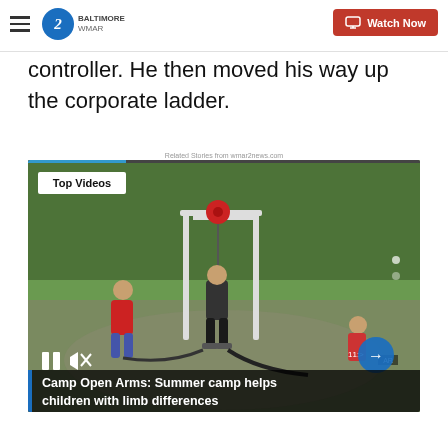WMAR Baltimore — Watch Now
controller. He then moved his way up the corporate ladder.
Related Stories from wmar2news.com
[Figure (screenshot): Video player showing a man using an exercise machine outdoors with children watching, labeled 'Top Videos'. Video title overlay reads: Camp Open Arms: Summer camp helps children with limb differences]